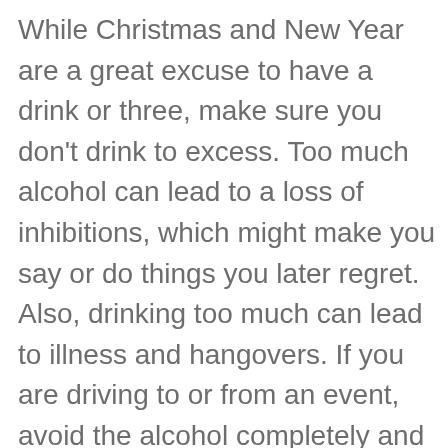While Christmas and New Year are a great excuse to have a drink or three, make sure you don't drink to excess. Too much alcohol can lead to a loss of inhibitions, which might make you say or do things you later regret. Also, drinking too much can lead to illness and hangovers. If you are driving to or from an event, avoid the alcohol completely and stick to soft drinks to ensure everyone gets home safely. Above all, don't feel tempted to drown your sorrows by drinking too much at Christmas. There are plenty of better ways to seek solace and support, including contacting The Samaritans (www.samaritans.org) or any locally-based mental health charities or